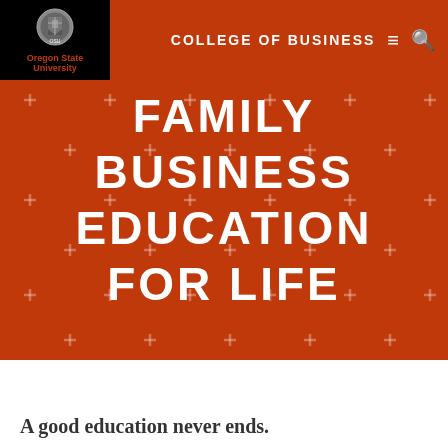[Figure (logo): Oregon State University crest/seal logo in black box with red text]
COLLEGE OF BUSINESS
FAMILY BUSINESS EDUCATION FOR LIFE
A good education never ends.